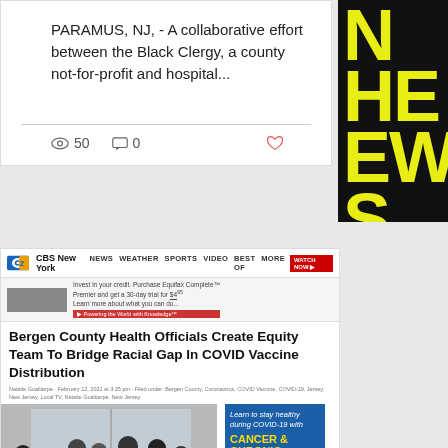PARAMUS, NJ, - A collaborative effort between the Black Clergy, a county not-for-profit and hospital...
50   0
[Figure (screenshot): CBS New York news website screenshot showing article: Bergen County Health Officials Create Equity Team To Bridge Racial Gap In COVID Vaccine Distribution, with video thumbnail of people at a vaccine site in Paramus, New Jersey, and a sidebar ad for Cancer & Chronic Illness course]
[Figure (photo): Right side panel showing partial text in large yellow letters on black background: N, HE, EWS]